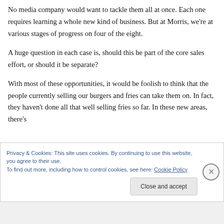No media company would want to tackle them all at once. Each one requires learning a whole new kind of business. But at Morris, we're at various stages of progress on four of the eight.
A huge question in each case is, should this be part of the core sales effort, or should it be separate?
With most of these opportunities, it would be foolish to think that the people currently selling our burgers and fries can take them on. In fact, they haven't done all that well selling fries so far. In these new areas, there's
Privacy & Cookies: This site uses cookies. By continuing to use this website, you agree to their use.
To find out more, including how to control cookies, see here: Cookie Policy
Close and accept